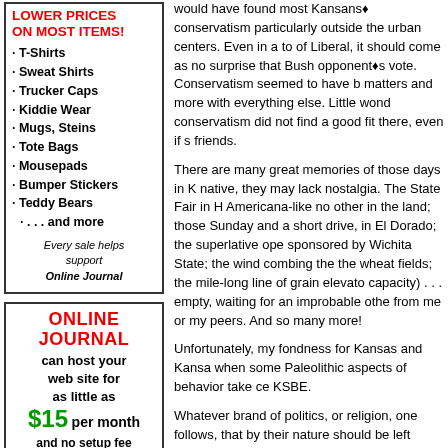[Figure (other): Advertisement box: LOWER PRICES ON MOST ITEMS! with list of products and support text for Online Journal]
[Figure (other): Advertisement box: ONLINE JOURNAL can host your web site for as little as $15 per month and no setup fee with our 1-year prepaid plan! CLICK FOR MORE INFO]
[Figure (other): MEMBER OF section header with bar]
would have found most Kansans’ conservatism particularly outside the urban centers. Even in a town of Liberal, it should come as no surprise that Bush opponent’s vote. Conservatism seemed to have been matters and more with everything else. Little wonder conservatism did not find a good fit there, even if some friends.
There are many great memories of those days in Kansas native, they may lack nostalgia. The State Fair in Hut Americana-like no other in the land; those Sunday and a short drive, in El Dorado; the superlative ope sponsored by Wichita State; the wind combing the the wheat fields; the mile-long line of grain elevato capacity) . . . empty, waiting for an improbable othe from me or my peers. And so many more!
Unfortunately, my fondness for Kansas and Kansas when some Paleolithic aspects of behavior take ce KSBE.
Whatever brand of politics, or religion, one follows, that by their nature should be left alone. Science is
In a science classroom, faith, whatever the context choice . . . not in Kansas, not in Munchkin land . . . this earth.
Kansas may find it appropriate to have a choice fo western meadowlark, and the unofficial mythical ja